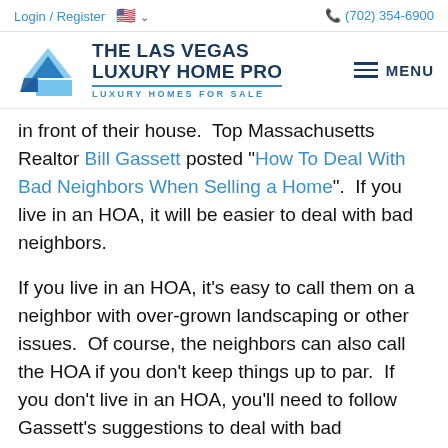Login / Register  🇺🇸 ∨   (702) 354-6900
[Figure (logo): The Las Vegas Luxury Home Pro logo with blue house icon and text 'THE LAS VEGAS LUXURY HOME PRO - LUXURY HOMES FOR SALE']
in front of their house.  Top Massachusetts Realtor Bill Gassett posted "How To Deal With Bad Neighbors When Selling a Home".  If you live in an HOA, it will be easier to deal with bad neighbors.
If you live in an HOA, it's easy to call them on a neighbor with over-grown landscaping or other issues.  Of course, the neighbors can also call the HOA if you don't keep things up to par.  If you don't live in an HOA, you'll need to follow Gassett's suggestions to deal with bad neighbors.